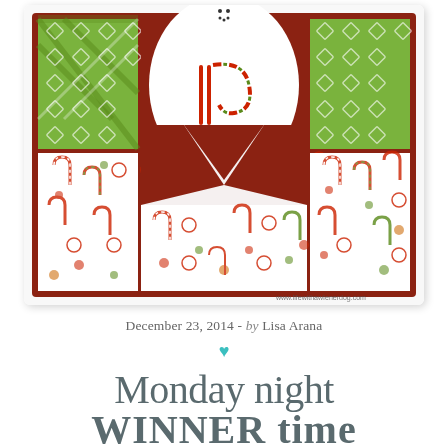[Figure (photo): Christmas card craft featuring a snowman with a candy cane and patterned holiday paper in red, green and white with candy cane and peppermint motifs. Watermark reads www.lifewithawIenerdog.com]
December 23, 2014 - by Lisa Arana
♥
Monday night WINNER time